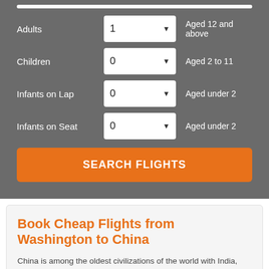[Figure (screenshot): Flight search form on gray background with passenger type dropdowns (Adults: 1, Children: 0, Infants on Lap: 0, Infants on Seat: 0) and an orange SEARCH FLIGHTS button]
Book Cheap Flights from Washington to China
China is among the oldest civilizations of the world with India, Egypt and Babylon alongside. It records a written